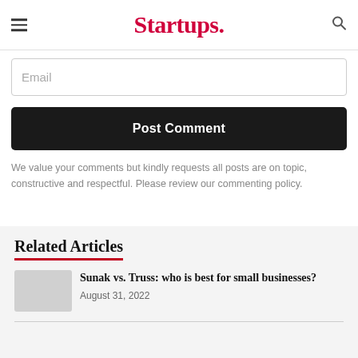Startups.
Email
Post Comment
We value your comments but kindly requests all posts are on topic, constructive and respectful. Please review our commenting policy.
Related Articles
Sunak vs. Truss: who is best for small businesses?
August 31, 2022